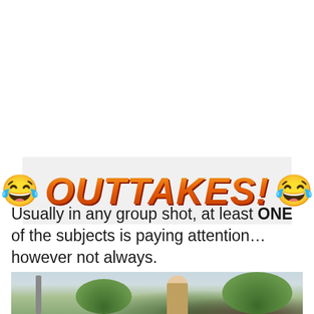😂 OUTTAKES! 😂
Usually in any group shot, at least ONE of the subjects is paying attention...however not always.
[Figure (photo): Outdoor group photo scene with trees and people in background, partially visible at bottom of page]